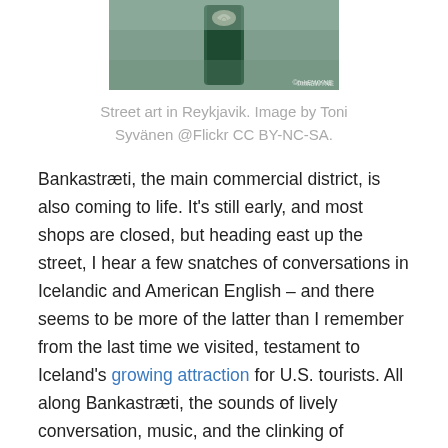[Figure (photo): Street art in Reykjavik – a dark green cylindrical post with a small decorative emblem near the top, against a grey background.]
Street art in Reykjavik. Image by Toni Syvänen @Flickr CC BY-NC-SA.
Bankastræti, the main commercial district, is also coming to life. It's still early, and most shops are closed, but heading east up the street, I hear a few snatches of conversations in Icelandic and American English – and there seems to be more of the latter than I remember from the last time we visited, testament to Iceland's growing attraction for U.S. tourists. All along Bankastræti, the sounds of lively conversation, music, and the clinking of tableware floats out of open doors as people pop in and out of cafes and restaurants for breakfast and morning coffee. As I bear right on Skólavörðustigur and up the hill